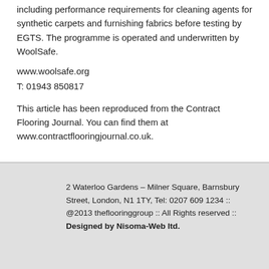including performance requirements for cleaning agents for synthetic carpets and furnishing fabrics before testing by EGTS. The programme is operated and underwritten by WoolSafe.
www.woolsafe.org
T: 01943 850817
This article has been reproduced from the Contract Flooring Journal. You can find them at www.contractflooringjournal.co.uk.
2 Waterloo Gardens – Milner Square, Barnsbury Street, London, N1 1TY, Tel: 0207 609 1234 :: @2013 theflooringgroup :: All Rights reserved :: Designed by Nisoma-Web ltd.